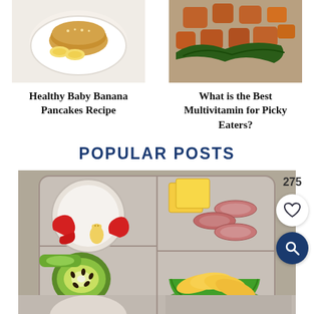[Figure (photo): Overhead photo of baby banana pancakes on a white plate with banana slices]
Healthy Baby Banana Pancakes Recipe
[Figure (photo): Photo of colorful chopped vegetables including sweet potatoes and greens]
What is the Best Multivitamin for Picky Eaters?
POPULAR POSTS
[Figure (photo): Lunchbox tray with compartments containing dip with bear cracker, red pepper, rolled deli meat, cheese slices, kiwi, and sliced apple in a green liner]
275